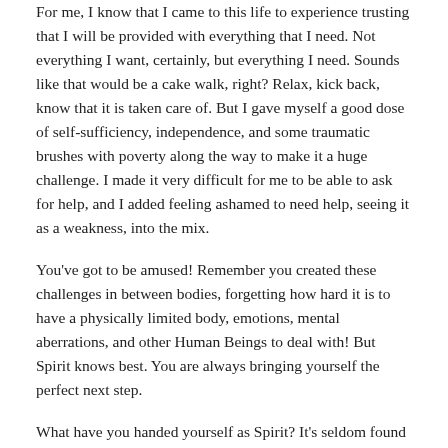For me, I know that I came to this life to experience trusting that I will be provided with everything that I need. Not everything I want, certainly, but everything I need. Sounds like that would be a cake walk, right? Relax, kick back, know that it is taken care of. But I gave myself a good dose of self-sufficiency, independence, and some traumatic brushes with poverty along the way to make it a huge challenge. I made it very difficult for me to be able to ask for help, and I added feeling ashamed to need help, seeing it as a weakness, into the mix.
You've got to be amused! Remember you created these challenges in between bodies, forgetting how hard it is to have a physically limited body, emotions, mental aberrations, and other Human Beings to deal with! But Spirit knows best. You are always bringing yourself the perfect next step.
What have you handed yourself as Spirit? It's seldom found in the "what" or "why" of whatever plagues you. "Why do I have cancer?" "Why did I lose my job?" "Why was I abused?" "Why am I alone?" These are not useful questions.
Maybe the conversation is about the "gift." If we follow what is